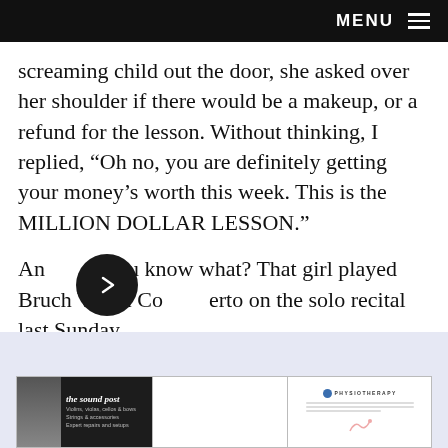MENU
screaming child out the door, she asked over her shoulder if there would be a makeup, or a refund for the lesson. Without thinking, I replied, “Oh no, you are definitely getting your money’s worth this week. This is the MILLION DOLLAR LESSON.”
And you know what? That girl played Bruch Violin Concerto on the solo recital last Sunday.
[Figure (other): Three advertisement panels at the bottom: The Sound Post (violin shop), a middle ad, and a Physiotherapy ad.]